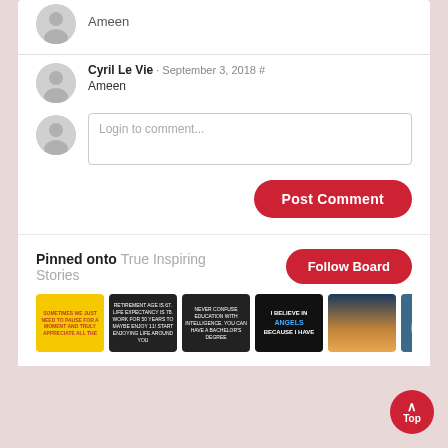Ameen
Cyril Le Vie · September 3, 2018 #
Ameen
Login to comment...
Post Comment
Pinned onto True Inspiring Stories
Follow Board
[Figure (screenshot): Six pinned image thumbnails: a yellow motivational quote card, a dark retirement quote card, a black education quote card, a black angels quote card, a sunset/sky photo, and a tiger photo.]
Top